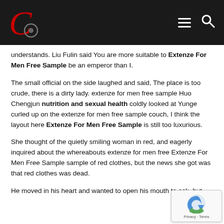[Figure (logo): Dark header bar with red italic C logo with circular icon, hamburger menu icon, and search icon on white/dark background]
understands. Liu Fulin said You are more suitable to Extenze For Men Free Sample be an emperor than I.
The small official on the side laughed and said, The place is too crude, there is a dirty lady. extenze for men free sample Huo Chengjun nutrition and sexual health coldly looked at Yunge curled up on the extenze for men free sample couch, I think the layout here Extenze For Men Free Sample is still too luxurious.
She thought of the quietly smiling woman in red, and eagerly inquired about the whereabouts extenze for men free Extenze For Men Free Sample sample of red clothes, but the news she got was that red clothes was dead.
He moved in his heart and wanted to open his mouth to ask, but